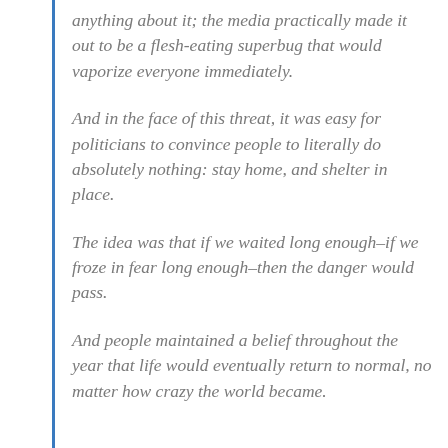anything about it; the media practically made it out to be a flesh-eating superbug that would vaporize everyone immediately.
And in the face of this threat, it was easy for politicians to convince people to literally do absolutely nothing: stay home, and shelter in place.
The idea was that if we waited long enough–if we froze in fear long enough–then the danger would pass.
And people maintained a belief throughout the year that life would eventually return to normal, no matter how crazy the world became.